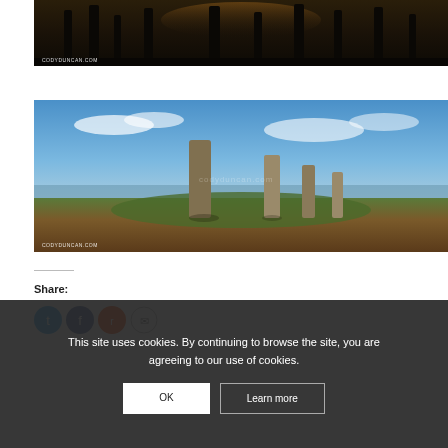[Figure (photo): Dark silhouette photo of standing stones at dusk/sunset with watermark CODYDUNCAN.COM]
[Figure (photo): Daytime photo of Ring of Brodgar or similar standing stones under blue sky with clouds, green grass, watermark CODYDUNCAN.COM]
Share:
This site uses cookies. By continuing to browse the site, you are agreeing to our use of cookies.
OK
Learn more
Salton Sea, Bombay Beach